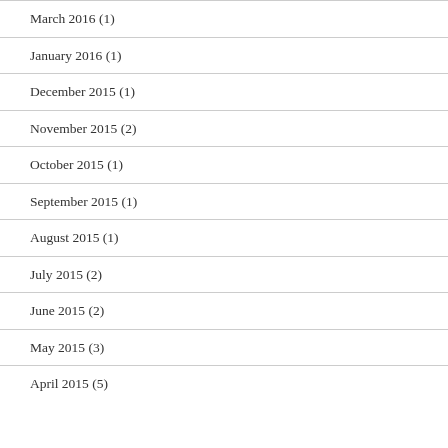March 2016 (1)
January 2016 (1)
December 2015 (1)
November 2015 (2)
October 2015 (1)
September 2015 (1)
August 2015 (1)
July 2015 (2)
June 2015 (2)
May 2015 (3)
April 2015 (5)